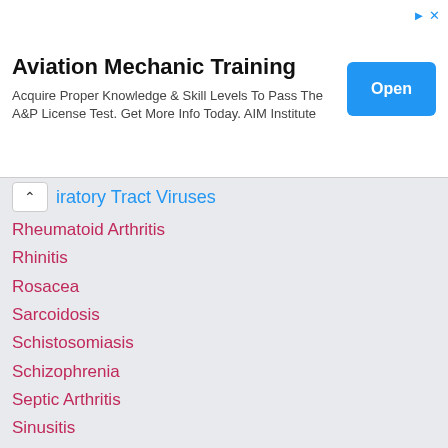[Figure (other): Aviation Mechanic Training advertisement banner with Open button]
iratory Tract Viruses
Rheumatoid Arthritis
Rhinitis
Rosacea
Sarcoidosis
Schistosomiasis
Schizophrenia
Septic Arthritis
Sinusitis
Sleep Apnea
Stress Disorders
Stroke
Substance Abuse and Dependence
Tinnitus
Tuberculosis
Ulcerative Colitis
Upper Respiratory Tract Infections